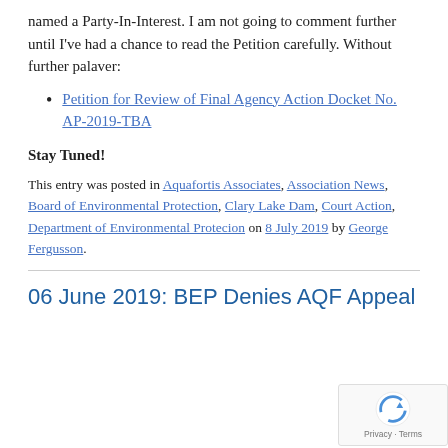named a Party-In-Interest. I am not going to comment further until I've had a chance to read the Petition carefully. Without further palaver:
Petition for Review of Final Agency Action Docket No. AP-2019-TBA
Stay Tuned!
This entry was posted in Aquafortis Associates, Association News, Board of Environmental Protection, Clary Lake Dam, Court Action, Department of Environmental Protecion on 8 July 2019 by George Fergusson.
06 June 2019: BEP Denies AQF Appeal